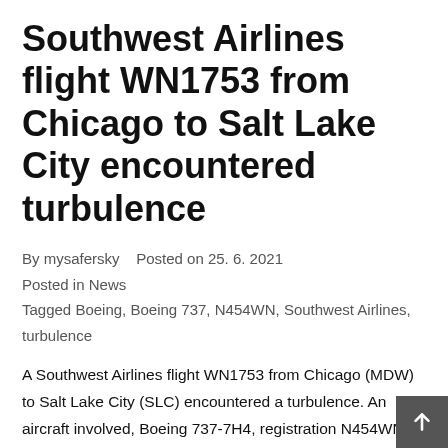Southwest Airlines flight WN1753 from Chicago to Salt Lake City encountered turbulence
By mysafersky    Posted on 25. 6. 2021
Posted in News
Tagged Boeing, Boeing 737, N454WN, Southwest Airlines, turbulence
A Southwest Airlines flight WN1753 from Chicago (MDW) to Salt Lake City (SLC) encountered a turbulence. An aircraft involved, Boeing 737-7H4, registration N454WN, has no other record in our database at the time of publication. Courtesy of